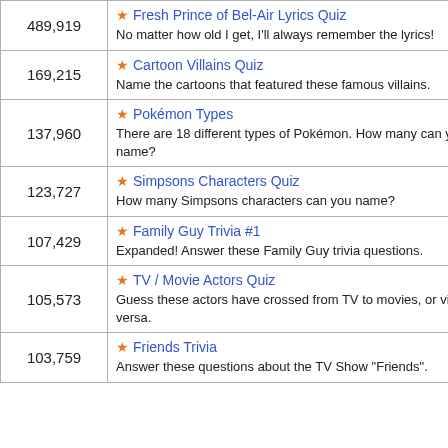| Count | Quiz |
| --- | --- |
| 489,919 | Fresh Prince of Bel-Air Lyrics Quiz
No matter how old I get, I'll always remember the lyrics! |
| 169,215 | Cartoon Villains Quiz
Name the cartoons that featured these famous villains. |
| 137,960 | Pokémon Types
There are 18 different types of Pokémon. How many can you name? |
| 123,727 | Simpsons Characters Quiz
How many Simpsons characters can you name? |
| 107,429 | Family Guy Trivia #1
Expanded! Answer these Family Guy trivia questions. |
| 105,573 | TV / Movie Actors Quiz
Guess these actors have crossed from TV to movies, or vice versa. |
| 103,759 | Friends Trivia
Answer these questions about the TV Show "Friends". |